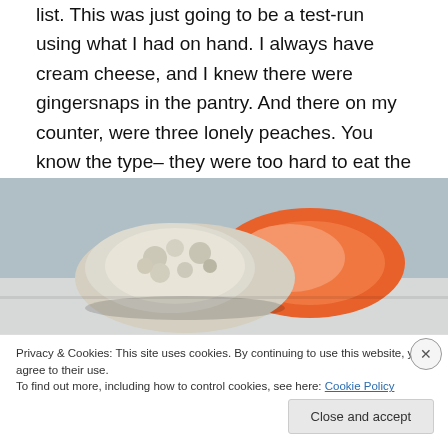list.  This was just going to be a test-run using what I had on hand.  I always have cream cheese, and I knew there were gingersnaps in the pantry.  And there on my counter, were three lonely peaches.  You know the type– they were too hard to eat the first day, we forgot about them on day two, and by day three they were…past their prime, shall we say.  Like I said, this was going to be a test-run.
[Figure (photo): Close-up photo of a gingersnap cookie next to a peach slice on a plate]
Privacy & Cookies: This site uses cookies. By continuing to use this website, you agree to their use.
To find out more, including how to control cookies, see here: Cookie Policy